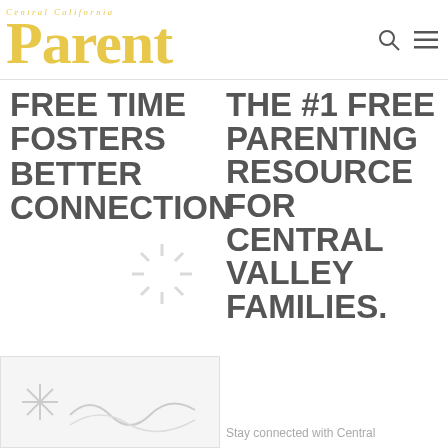Central California Parent
FREE TIME FOSTERS BETTER CONNECTION
THE #1 FREE PARENTING RESOURCE FOR CENTRAL VALLEY FAMILIES.
Stay connected with Central
[Figure (illustration): Loading spinner icon overlay on left column]
[Figure (illustration): Decorative illustration at bottom of page, partially visible]